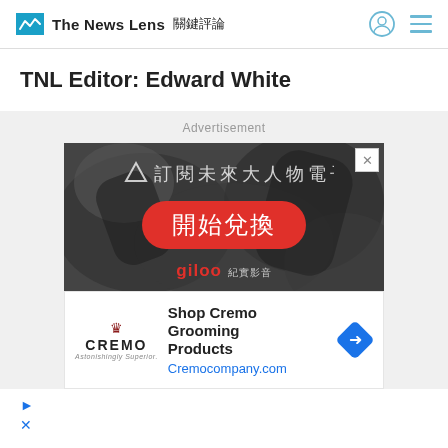The News Lens 關鍵評論
TNL Editor: Edward White
Advertisement
[Figure (photo): Advertisement image with Chinese text '訂閱未來大人物電子報', a red pill-shaped button '開始兌換', and 'giloo' branding on dark blurry background]
[Figure (infographic): Cremo grooming products advertisement with Cremo logo, text 'Shop Cremo Grooming Products', 'Cremocompany.com' URL, and a blue diamond navigation arrow icon]